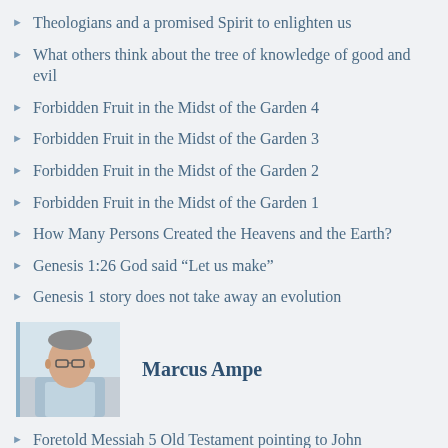Theologians and a promised Spirit to enlighten us
What others think about the tree of knowledge of good and evil
Forbidden Fruit in the Midst of the Garden 4
Forbidden Fruit in the Midst of the Garden 3
Forbidden Fruit in the Midst of the Garden 2
Forbidden Fruit in the Midst of the Garden 1
How Many Persons Created the Heavens and the Earth?
Genesis 1:26 God said “Let us make”
Genesis 1 story does not take away an evolution
[Figure (photo): Author photo of Marcus Ampe, a man with glasses]
Marcus Ampe
Foretold Messiah 5 Old Testament pointing to John